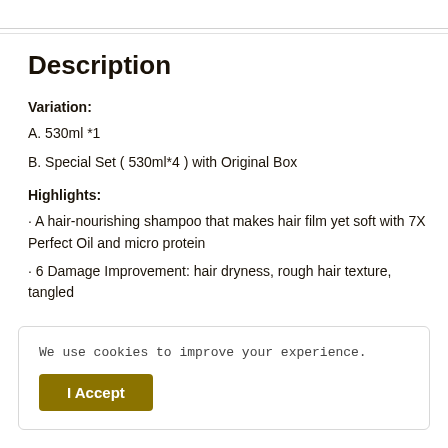Description
Variation:
A.  530ml *1
B.  Special Set ( 530ml*4 ) with Original Box
Highlights:
· A hair-nourishing shampoo that makes hair film yet soft with 7X Perfect Oil and micro protein
· 6 Damage Improvement: hair dryness, rough hair texture, tangled
We use cookies to improve your experience.
I Accept